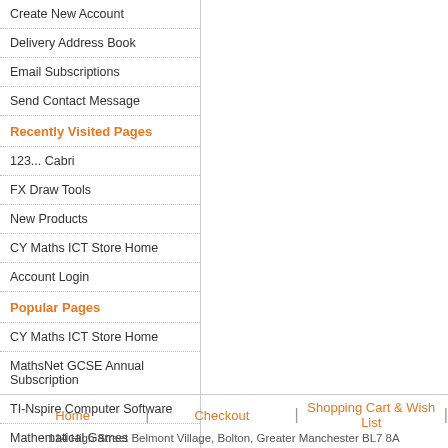Create New Account
Delivery Address Book
Email Subscriptions
Send Contact Message
Recently Visited Pages
123... Cabri
FX Draw Tools
New Products
CY Maths ICT Store Home
Account Login
Popular Pages
CY Maths ICT Store Home
MathsNet GCSE Annual Subscription
TI-Nspire Computer Software
Mathematical Games
123... Cabri
Shopping Cart
There are no items in your shopping cart.
Home | Checkout | Shopping Cart & Wish List | 114 High Street Belmont Village, Bolton, Greater Manchester BL7 8A